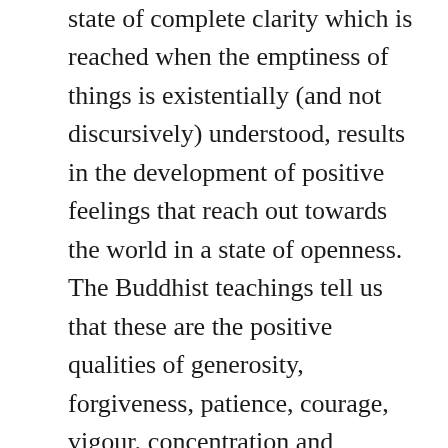state of complete clarity which is reached when the emptiness of things is existentially (and not discursively) understood, results in the development of positive feelings that reach out towards the world in a state of openness. The Buddhist teachings tell us that these are the positive qualities of generosity, forgiveness, patience, courage, vigour, concentration and wisdom and (beyond even these virtues) the‘immeasurables’ of friendliness, joy, compassion and peace. As for us, the use of these terms in our age incurs (very legitimately) the charge of ‘bad faith’, and we cannot use them. But we do know that only in non-grasping, there is a possibility of being present within another